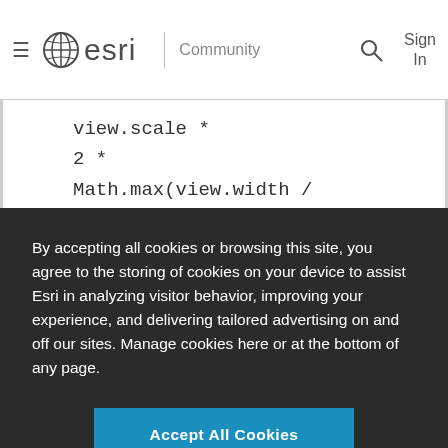≡  esri  |  Community  🔍  Sign In
view.scale *
2 *
Math.max(view.width / overView.width, view.height / overView.height)
By accepting all cookies or browsing this site, you agree to the storing of cookies on your device to assist Esri in analyzing visitor behavior, improving your experience, and delivering tailored advertising on and off our sites. Manage cookies here or at the bottom of any page.
Accept All Cookies
Cookies Settings